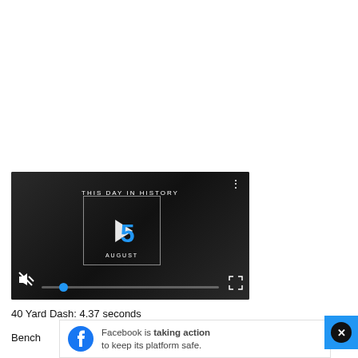[Figure (screenshot): Video player showing 'This Day In History' with a play button overlay, blue number 5, text 'AUGUST', mute icon, progress bar with blue dot, fullscreen icon, and three-dot menu. Dark background with people in background.]
40 Yard Dash: 4.37 seconds
Bench
[Figure (screenshot): Facebook advertisement banner: Facebook logo icon, text 'Facebook is taking action to keep its platform safe.' with 'taking action' in bold.]